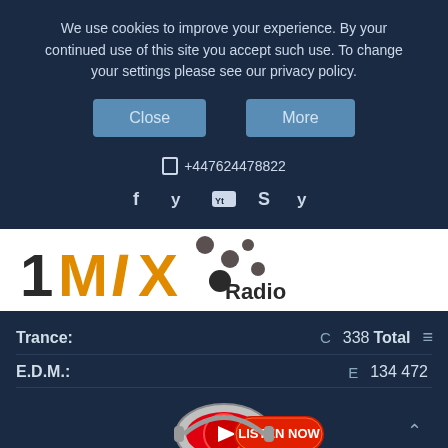We use cookies to improve your experience. By your continued use of this site you accept such use. To change your settings please see our privacy policy.
Close   More
☎ +447624478822
f  y  Yt  S  y  (social icons)
[Figure (logo): 1MIX Radio logo with orange MIX text and dot pattern]
Trance:   C   338 Total   ≡
E.D.M.:   E   134 472
[Figure (other): Red Listen Now button with headphones]